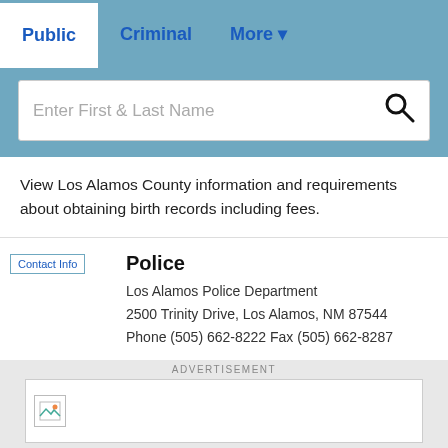Public | Criminal | More
[Figure (screenshot): Search bar with placeholder text 'Enter First & Last Name' and a magnifying glass icon]
View Los Alamos County information and requirements about obtaining birth records including fees.
Police
Los Alamos Police Department
2500 Trinity Drive, Los Alamos, NM 87544
Phone (505) 662-8222 Fax (505) 662-8287
Genealogy Records Search
[Figure (screenshot): Advertisement banner area with small image placeholder icon]